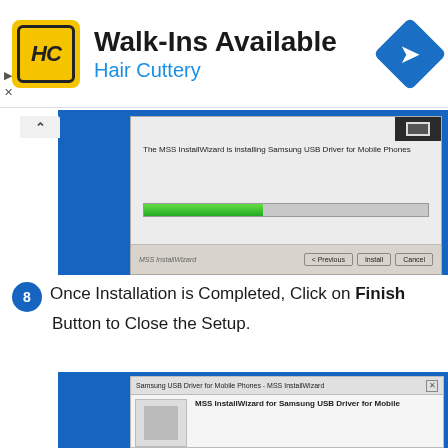[Figure (screenshot): Advertisement banner for Hair Cuttery salon: yellow logo with HC initials, title 'Walk-Ins Available', subtitle 'Hair Cuttery', blue diamond navigation icon on right, small play and close controls on left]
[Figure (screenshot): Windows MSS InstallWizard dialog showing installation progress of Samsung USB Driver for Mobile Phones. Text reads 'The MSS InstallWizard is installing Samsung USB Driver for Mobile Phones'. Green progress bar about 42% complete. Buttons: < Previous, Install, Cancel. Footer label: MSS InstallWizard]
8  Once Installation is Completed, Click on Finish Button to Close the Setup.
[Figure (screenshot): Samsung USB Driver for Mobile Phones - MSS InstallWizard dialog title bar visible, with text 'MSS InstallWizard for Samsung USB Driver for Mobile']